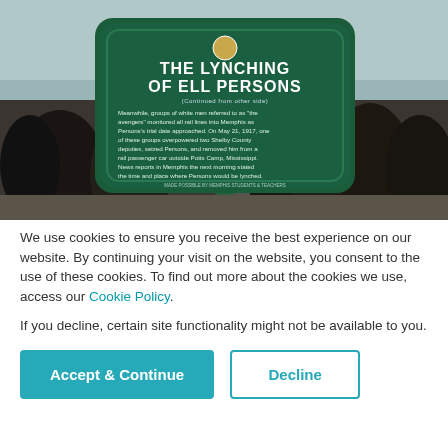[Figure (photo): A group of people standing around a green historical marker sign reading 'THE LYNCHING OF ELL PERSONS'. The sign has white text on a dark green background with detailed text about the historical event. Crowd of young people in black t-shirts and an older man in a suit visible.]
We use cookies to ensure you receive the best experience on our website. By continuing your visit on the website, you consent to the use of these cookies. To find out more about the cookies we use, access our Cookie Policy.
If you decline, certain site functionality might not be available to you.